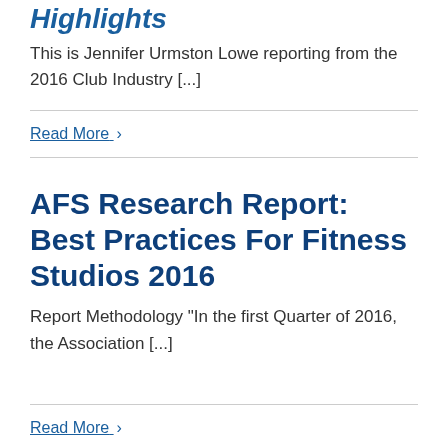Highlights
This is Jennifer Urmston Lowe reporting from the 2016 Club Industry [...]
Read More ›
AFS Research Report: Best Practices For Fitness Studios 2016
Report Methodology "In the first Quarter of 2016, the Association [...]
Read More ›